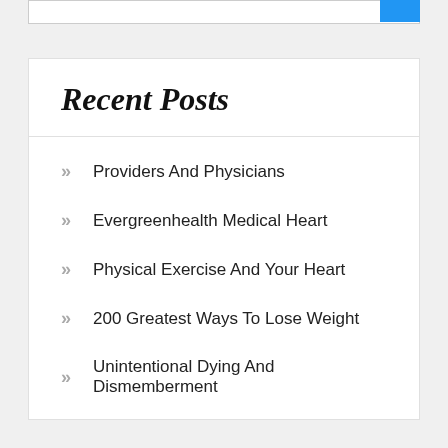Recent Posts
Providers And Physicians
Evergreenhealth Medical Heart
Physical Exercise And Your Heart
200 Greatest Ways To Lose Weight
Unintentional Dying And Dismemberment